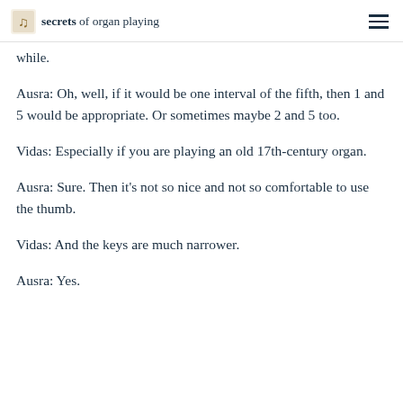secrets of organ playing
while.
Ausra: Oh, well, if it would be one interval of the fifth, then 1 and 5 would be appropriate. Or sometimes maybe 2 and 5 too.
Vidas: Especially if you are playing an old 17th-century organ.
Ausra: Sure. Then it's not so nice and not so comfortable to use the thumb.
Vidas: And the keys are much narrower.
Ausra: Yes.